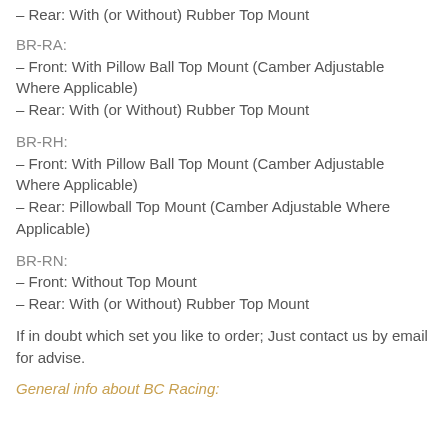– Rear: With (or Without) Rubber Top Mount
BR-RA:
– Front: With Pillow Ball Top Mount (Camber Adjustable Where Applicable)
– Rear: With (or Without) Rubber Top Mount
BR-RH:
– Front: With Pillow Ball Top Mount (Camber Adjustable Where Applicable)
– Rear: Pillowball Top Mount (Camber Adjustable Where Applicable)
BR-RN:
– Front: Without Top Mount
– Rear: With (or Without) Rubber Top Mount
If in doubt which set you like to order; Just contact us by email for advise.
General info about BC Racing: